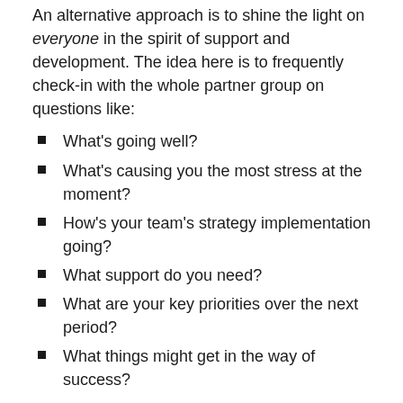An alternative approach is to shine the light on everyone in the spirit of support and development. The idea here is to frequently check-in with the whole partner group on questions like:
What's going well?
What's causing you the most stress at the moment?
How's your team's strategy implementation going?
What support do you need?
What are your key priorities over the next period?
What things might get in the way of success?
The logic there is that through greater transparency and a more supportive leadership style there will be a positive impact across the board. This approach is aimed at growing the overall pie and reducing dissonance between the fast and the slow.